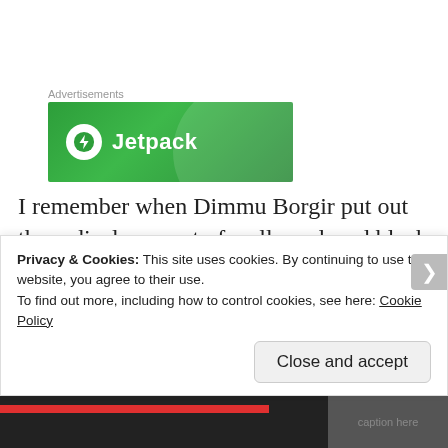[Figure (logo): Jetpack advertisement banner — green background with Jetpack logo (lightning bolt in circle) and 'Jetpack' text in white]
I remember when Dimmu Borgir put out the radical concept of well-produced black metal and now in this brave year of our lord 2018 there are bands continuing to carry that flag. I love the modern evolution of black metal, although with the caveat that there's more
Privacy & Cookies: This site uses cookies. By continuing to use this website, you agree to their use.
To find out more, including how to control cookies, see here: Cookie Policy